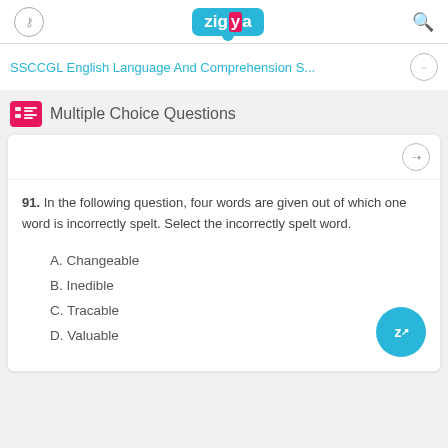Zigya
SSCCGL English Language And Comprehension S...
Multiple Choice Questions
91.  In the following question, four words are given out of which one word is incorrectly spelt. Select the incorrectly spelt word.
A. Changeable
B. Inedible
C. Tracable
D. Valuable